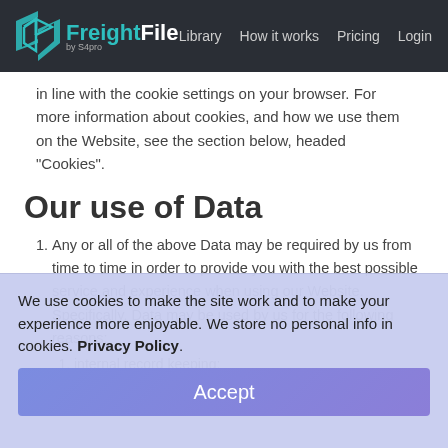FreightFile — Library | How it works | Pricing | Login
in line with the cookie settings on your browser. For more information about cookies, and how we use them on the Website, see the section below, headed "Cookies".
Our use of Data
1. Any or all of the above Data may be required by us from time to time in order to provide you with the best possible service and experience when using our Website. Specifically, Data may be used by us for the following reasons:
1. internal record keeping;
We use cookies to make the site work and to make your experience more enjoyable. We store no personal info in cookies. Privacy Policy.
Accept
certain circumstances (see the section headed "Your